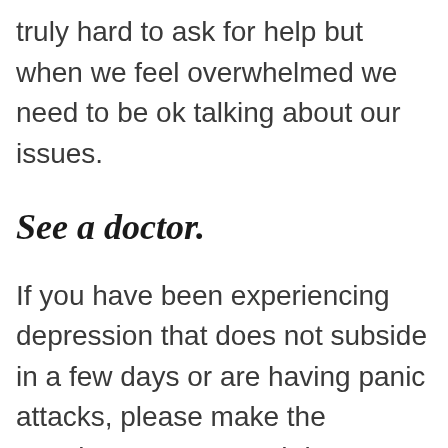truly hard to ask for help but when we feel overwhelmed we need to be ok talking about our issues.
See a doctor.
If you have been experiencing depression that does not subside in a few days or are having panic attacks, please make the appointment. It’s worth it. Your doctor has many resources available to help you process your